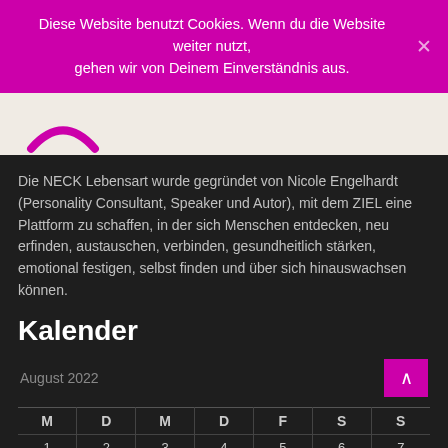Diese Website benutzt Cookies. Wenn du die Website weiter nutzt, gehen wir von Deinem Einverständnis aus.
[Figure (logo): NECK Lebensart logo – magenta arc/smile shape on light background]
Die NECK Lebensart wurde gegründet von Nicole Engelhardt (Personality Consultant, Speaker und Autor), mit dem ZIEL eine Plattform zu schaffen, in der sich Menschen entdecken, neu erfinden, austauschen, verbinden, gesundheitlich stärken, emotional festigen, selbst finden und über sich hinauswachsen können.
Kalender
| M | D | M | D | F | S | S |
| --- | --- | --- | --- | --- | --- | --- |
| 1 | 2 | 3 | 4 | 5 | 6 | 7 |